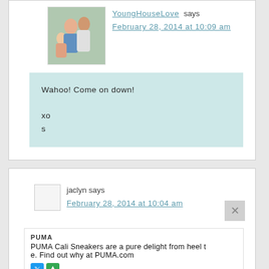[Figure (photo): Profile photo of a couple with child, used as comment avatar for YoungHouseLove]
YoungHouseLove says
February 28, 2014 at 10:09 am
Wahoo! Come on down!

xo

s
[Figure (photo): Blank/placeholder avatar for commenter jaclyn]
jaclyn says
February 28, 2014 at 10:04 am
PUMA
PUMA Cali Sneakers are a pure delight from heel to toe. Find out why at PUMA.com